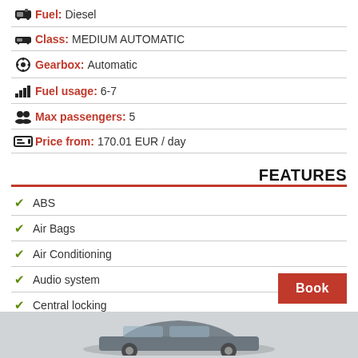Fuel: Diesel
Class: MEDIUM AUTOMATIC
Gearbox: Automatic
Fuel usage: 6-7
Max passengers: 5
Price from: 170.01 EUR / day
FEATURES
ABS
Air Bags
Air Conditioning
Audio system
Central locking
Cruise Control
Electric Windows
Hands free
Power Steening
[Figure (photo): Partial view of a dark-colored sedan car at the bottom of the page]